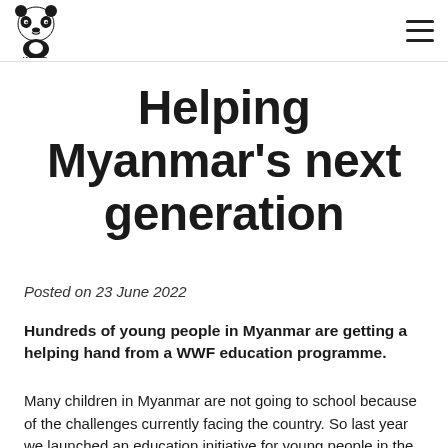WWF logo and navigation menu
Helping Myanmar's next generation
Posted on 23 June 2022
Hundreds of young people in Myanmar are getting a helping hand from a WWF education programme.
Many children in Myanmar are not going to school because of the challenges currently facing the country. So last year we launched an education initiative for young people in the